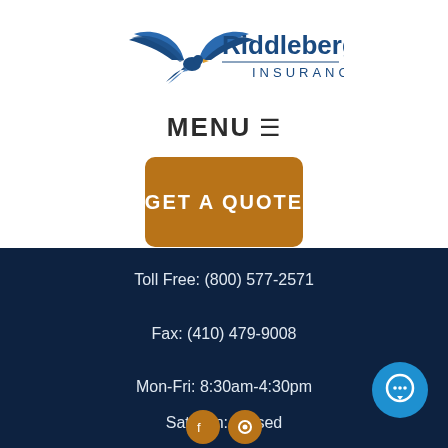[Figure (logo): Riddleberger Insurance logo with a bird/eagle graphic in blue and a horizontal line under INSURANCE text]
MENU ☰
GET A QUOTE
Toll Free: (800) 577-2571
Fax: (410) 479-9008
Mon-Fri: 8:30am-4:30pm
Sat-Sun: Closed
[Figure (illustration): Chat bubble icon in a blue circle button, bottom right]
[Figure (illustration): Two orange/gold social media icon circles at the bottom center]